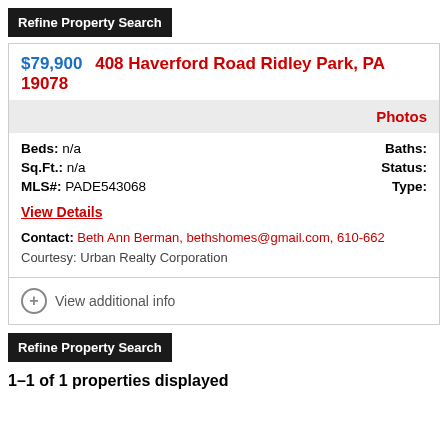Refine Property Search
$79,900   408 Haverford Road Ridley Park, PA 19078
Photos
Beds: n/a    Baths:
Sq.Ft.: n/a    Status:
MLS#: PADE543068    Type:
View Details
Contact: Beth Ann Berman, bethshomes@gmail.com, 610-662
Courtesy: Urban Realty Corporation
View additional info
Refine Property Search
1–1 of 1 properties displayed